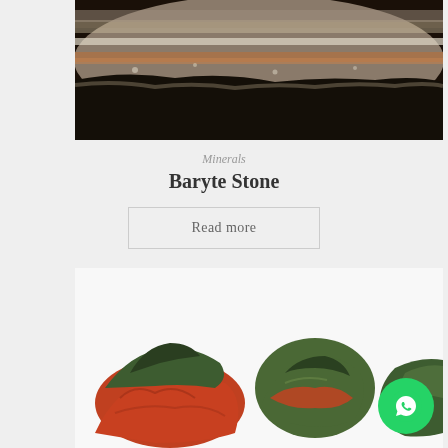[Figure (photo): Close-up photo of a Baryte stone showing layered banded rock texture with grey, orange and white mineral layers]
Minerals
Baryte Stone
Read more
[Figure (photo): Photo of multiple green and red-orange mineral specimens (Baryte stones) on a white background]